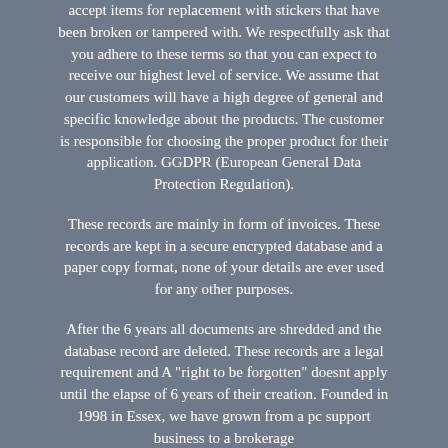accept items for replacement with stickers that have been broken or tampered with. We respectfully ask that you adhere to these terms so that you can expect to receive our highest level of service. We assume that our customers will have a high degree of general and specific knowledge about the products. The customer is responsible for choosing the proper product for their application. GGDPR (European General Data Protection Regulation).
These records are mainly in form of invoices. These records are kept in a secure encrypted database and a paper copy format, none of your details are ever used for any other purposes.
After the 6 years all documents are shredded and the database record are deleted. These records are a legal requirement and A "right to be forgotten" doesnt apply until the elapse of 6 years of their creation. Founded in 1998 in Essex, we have grown from a pc support business to a brokerage